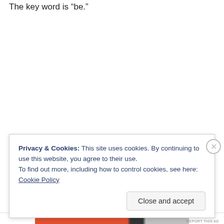The key word is 'be.'
Privacy & Cookies: This site uses cookies. By continuing to use this website, you agree to their use.
To find out more, including how to control cookies, see here: Cookie Policy
Close and accept